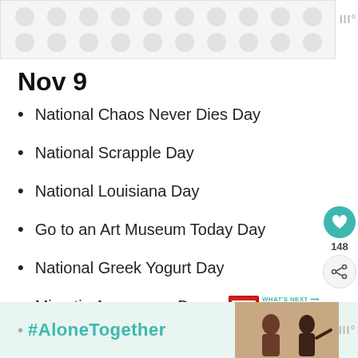[Figure (other): Top advertisement banner with dot pattern background]
Nov 9
National Chaos Never Dies Day
National Scrapple Day
National Louisiana Day
Go to an Art Museum Today Day
National Greek Yogurt Day
Microtia Awareness Day
[Figure (other): Heart/like button (teal circle with heart icon), count 148, and share button]
[Figure (other): What's Next widget - National Food Days in July...]
Nov 10
[Figure (other): Bottom advertisement banner with #AloneTogether text and people photo]